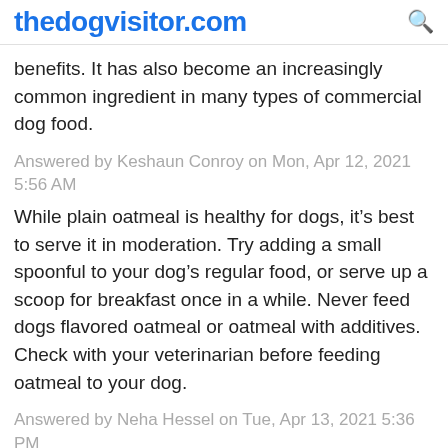thedogvisitor.com
benefits. It has also become an increasingly common ingredient in many types of commercial dog food.
Answered by Keshaun Conroy on Mon, Apr 12, 2021 5:56 AM
While plain oatmeal is healthy for dogs, it’s best to serve it in moderation. Try adding a small spoonful to your dog’s regular food, or serve up a scoop for breakfast once in a while. Never feed dogs flavored oatmeal or oatmeal with additives. Check with your veterinarian before feeding oatmeal to your dog.
Answered by Neha Hessel on Tue, Apr 13, 2021 5:36 PM
Plain oatmeal is safe for your dog to eat. Oatmeal